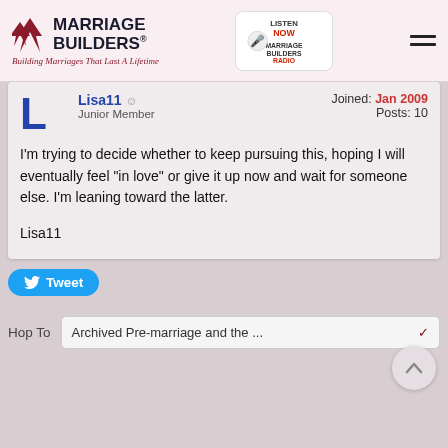Marriage Builders — Building Marriages That Last A Lifetime
Lisa11  Junior Member  Joined: Jan 2009  Posts: 10
I'm trying to decide whether to keep pursuing this, hoping I will eventually feel "in love" or give it up now and wait for someone else. I'm leaning toward the latter.

Lisa11
Tweet
Hop To  Archived Pre-marriage and the ...